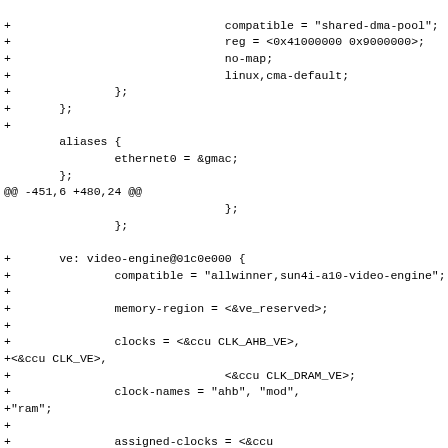Diff/patch code snippet showing device tree additions for video engine node with compatible, reg, no-map, linux cma-default, aliases, ethernet0, ve video-engine, compatible allwinner sun4i-a10-video-engine, memory-region, clocks, clock-names, assigned-clocks, assigned-clock-rates, resets properties.